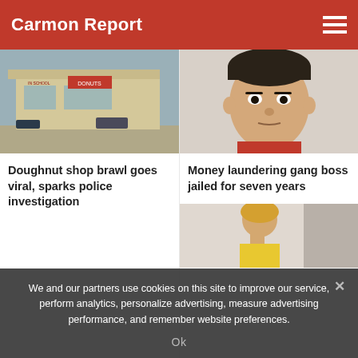Carmon Report
[Figure (photo): Exterior photo of a donut shop building]
[Figure (photo): Mugshot of an Asian man in a red jacket]
Doughnut shop brawl goes viral, sparks police investigation
Money laundering gang boss jailed for seven years
[Figure (photo): Woman holding side of face, partially visible]
We and our partners use cookies on this site to improve our service, perform analytics, personalize advertising, measure advertising performance, and remember website preferences.
Ok